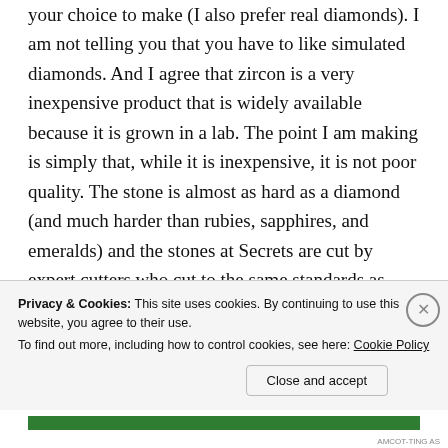your choice to make (I also prefer real diamonds). I am not telling you that you have to like simulated diamonds. And I agree that zircon is a very inexpensive product that is widely available because it is grown in a lab. The point I am making is simply that, while it is inexpensive, it is not poor quality. The stone is almost as hard as a diamond (and much harder than rubies, sapphires, and emeralds) and the stones at Secrets are cut by expert cutters who cut to the same standards as high
Privacy & Cookies: This site uses cookies. By continuing to use this website, you agree to their use.
To find out more, including how to control cookies, see here: Cookie Policy
Close and accept
AMCOT-TING AS